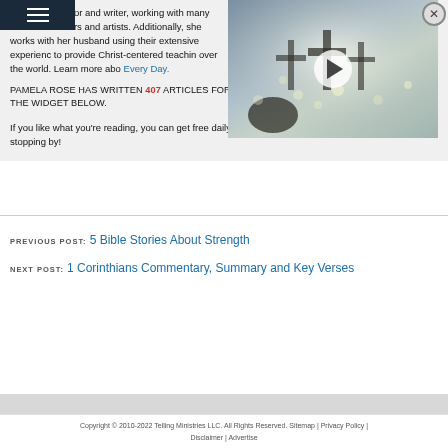professional editor and writer, working with many Christian authors and artists. Additionally, she works with her husband using their extensive experience to provide Christ-centered teaching over the world. Learn more about Every Day.
[Figure (screenshot): Video overlay showing a religious scene with crosses and light, with a play button in the center]
PAMELA ROSE HAS WRITTEN 407 ARTICLES FOR CHRISTIANS WANT TO KNOW! READ THEM IN THE WIDGET BELOW.
If you like what you're reading, you can get free daily updates through the RSS feed here. Thanks for stopping by!
PREVIOUS POST: 5 Bible Stories About Strength
NEXT POST: 1 Corinthians Commentary, Summary and Key Verses
Copyright © 2010-2022 Telling Ministries LLC. All Rights Reserved. Sitemap | Privacy Policy | Disclaimer | Advertise